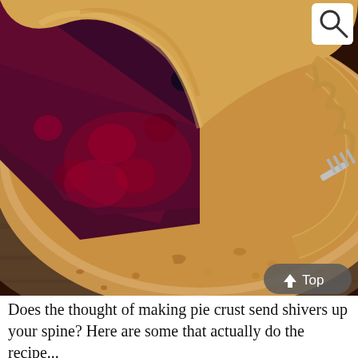[Figure (photo): Close-up photograph of a berry pie with a slice removed, revealing dark purple cherry and blueberry filling with glossy syrup. The pie has a golden-brown flaky crust with crumbled pieces scattered on a dark wooden table surface. A search icon (magnifying glass) appears in the top-right corner and a 'Top' navigation button with an upward arrow appears in the bottom-right corner of the image.]
Does the thought of making pie crust send shivers up your spine? Here are some that actually do the recipe...